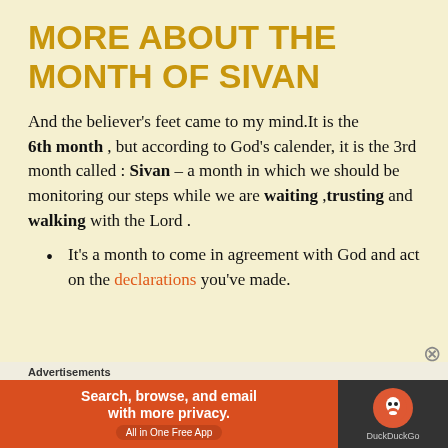MORE ABOUT THE MONTH OF SIVAN
And the believer’s feet came to my mind.It is the 6th month , but according to God’s calender, it is the 3rd month called : Sivan – a month in which we should be monitoring our steps while we are waiting ,trusting and walking with the Lord .
It’s a month to come in agreement with God and act on the declarations you’ve made.
Advertisements
[Figure (other): DuckDuckGo advertisement banner: Search, browse, and email with more privacy. All in One Free App.]